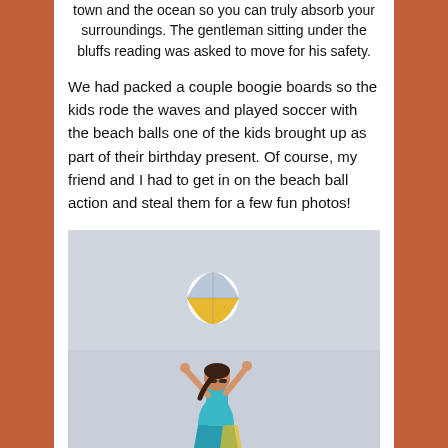town and the ocean so you can truly absorb your surroundings. The gentleman sitting under the bluffs reading was asked to move for his safety.
We had packed a couple boogie boards so the kids rode the waves and played soccer with the beach balls one of the kids brought up as part of their birthday present. Of course, my friend and I had to get in on the beach ball action and steal them for a few fun photos!
[Figure (photo): A woman in a colorful blue and yellow dress jumping with arms raised toward a beach ball tossed in the air, against a light overcast sky background.]